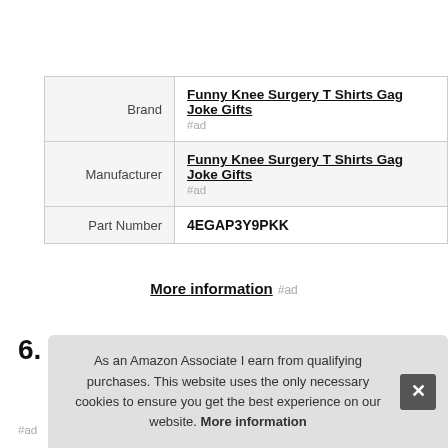|  |  |
| --- | --- |
| Brand | Funny Knee Surgery T Shirts Gag Joke Gifts
#ad |
| Manufacturer | Funny Knee Surgery T Shirts Gag Joke Gifts
#ad |
| Part Number | 4EGAP3Y9PKK |
More information #ad
6.
As an Amazon Associate I earn from qualifying purchases. This website uses the only necessary cookies to ensure you get the best experience on our website. More information
#ad